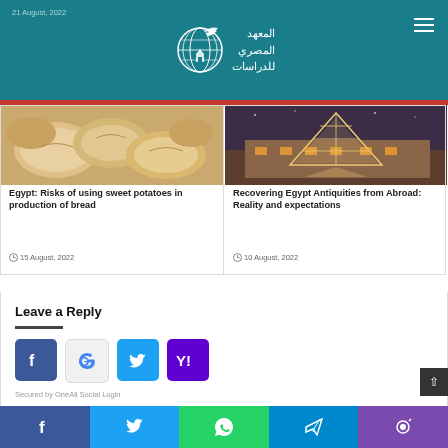21 August, 2022
[Figure (logo): Egyptian Institute for Studies logo with globe and Arabic text]
[Figure (photo): Close-up photo of pita bread / flatbread]
Egypt: Risks of using sweet potatoes in production of bread
15 August, 2022
[Figure (photo): Photo of the Louvre pyramid lit up at night]
Recovering Egypt Antiquities from Abroad: Reality and expectations
10 August, 2022
Leave a Reply
[Figure (infographic): Social login buttons: Facebook, Google, Twitter, Yahoo]
Secured by OneAll Social Login